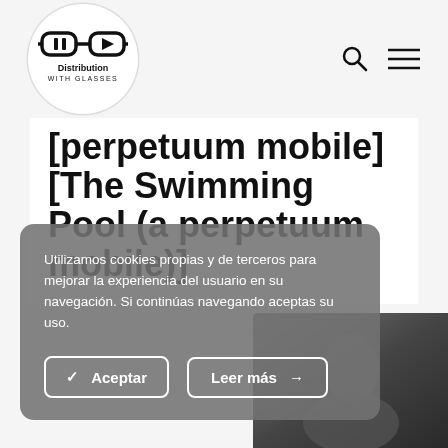[Figure (logo): Distribution With Glasses logo – glasses icon inside white circle with text 'Distribution WITH GLASSES']
[Figure (other): Search icon (magnifying glass) and hamburger menu icon in top right header]
[perpetuum mobile] [The Swimming Pool (a perpetuum mobile)]
Utilizamos cookies propias y de terceros para mejorar la experiencia del usuario en su navegación. Si continúas navegando aceptas su uso.
✓  Aceptar
Leer más  →
[Figure (photo): Partial photo of a person in bottom right corner, dark tones]